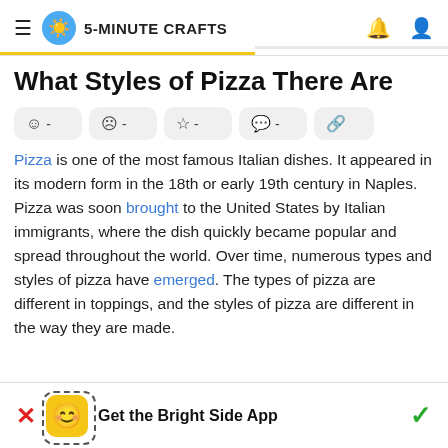5-MINUTE CRAFTS
What Styles of Pizza There Are
Pizza is one of the most famous Italian dishes. It appeared in its modern form in the 18th or early 19th century in Naples. Pizza was soon brought to the United States by Italian immigrants, where the dish quickly became popular and spread throughout the world. Over time, numerous types and styles of pizza have emerged. The types of pizza are different in toppings, and the styles of pizza are different in the way they are made.
Get the Bright Side App